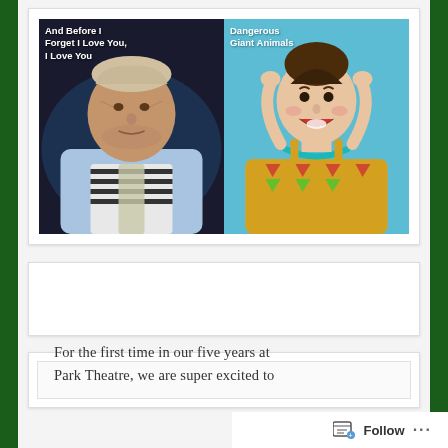[Figure (photo): Two-panel promotional image. Left panel: dark background with an elderly man with white/gray hair wearing a light blue jacket and striped shirt with a glittery scarf; text overlay reads 'And Before I Forget I Love You, I Love You'. Right panel: light blue background with a young woman in a colorful patterned dress and teal necklace, hands on head, laughing/excited expression; text overlay reads 'Dangerous Giant Animals'.]
[Figure (other): Empty/blank white card area — appears to be an advertisement placeholder.]
For the first time in our five years at Park Theatre, we are super excited to
Follow ···